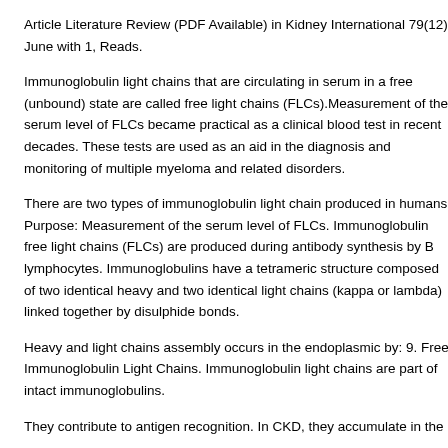Article Literature Review (PDF Available) in Kidney International 79(12) June with 1, Reads.
Immunoglobulin light chains that are circulating in serum in a free (unbound) state are called free light chains (FLCs).Measurement of the serum level of FLCs became practical as a clinical blood test in recent decades. These tests are used as an aid in the diagnosis and monitoring of multiple myeloma and related disorders.
There are two types of immunoglobulin light chain produced in humans Purpose: Measurement of the serum level of FLCs. Immunoglobulin free light chains (FLCs) are produced during antibody synthesis by B lymphocytes. Immunoglobulins have a tetrameric structure composed of two identical heavy and two identical light chains (kappa or lambda) linked together by disulphide bonds.
Heavy and light chains assembly occurs in the endoplasmic by: 9. Free Immunoglobulin Light Chains. Immunoglobulin light chains are part of intact immunoglobulins.
They contribute to antigen recognition. In CKD, they accumulate in the